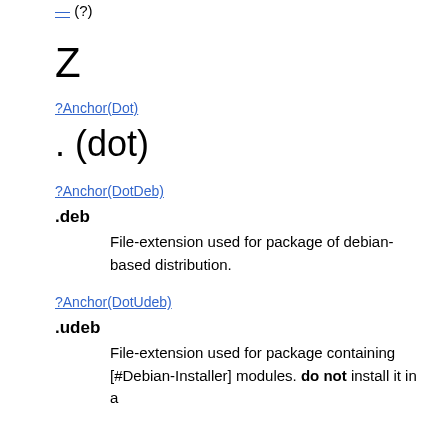— (?)
Z
?Anchor(Dot)
. (dot)
?Anchor(DotDeb)
.deb
File-extension used for package of debian-based distribution.
?Anchor(DotUdeb)
.udeb
File-extension used for package containing [#Debian-Installer] modules. do not install it in a